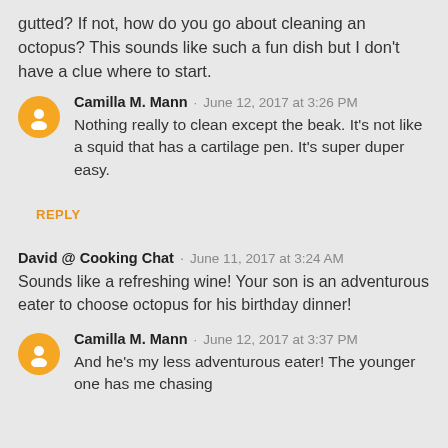gutted? If not, how do you go about cleaning an octopus? This sounds like such a fun dish but I don't have a clue where to start.
Camilla M. Mann · June 12, 2017 at 3:26 PM
Nothing really to clean except the beak. It's not like a squid that has a cartilage pen. It's super duper easy.
REPLY
David @ Cooking Chat · June 11, 2017 at 3:24 AM
Sounds like a refreshing wine! Your son is an adventurous eater to choose octopus for his birthday dinner!
Camilla M. Mann · June 12, 2017 at 3:37 PM
And he's my less adventurous eater! The younger one has me chasing